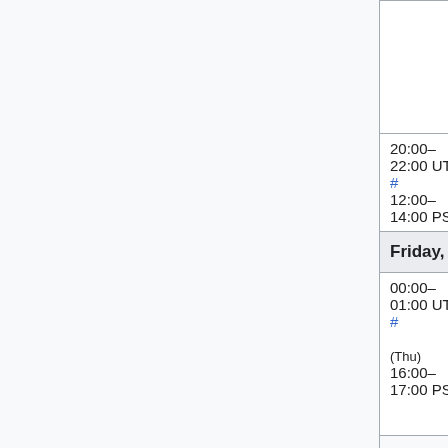| Time | Event | People |
| --- | --- | --- |
|  |  | Niharika (Niha or Željko (zelj |
| 20:00–22:00 UTC # 12:00–14:00 PST | MediaWiki train - Americas version |  |
| Friday, January 18 |  |  |
| 00:00–01:00 UTC # (Thu) 16:00–17:00 PST | Evening SWAT (Max 6 patches) | addshore, Ant (hashar), Katie (aude), Max (MaxSem), Muk (twentyafter Roan (RoanKattouw Sébastien (Dereckson), T (thcipriani) |